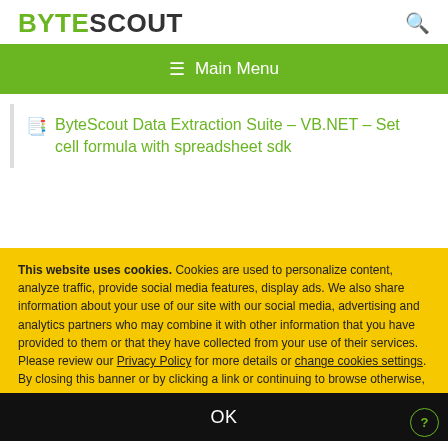BYTESCOUT
ByteScout Data Extraction Suite – VB.NET – Set cell formula with spreadsheet sdk
This website uses cookies. Cookies are used to personalize content, analyze traffic, provide social media features, display ads. We also share information about your use of our site with our social media, advertising and analytics partners who may combine it with other information that you have provided to them or that they have collected from your use of their services. Please review our Privacy Policy for more details or change cookies settings. By closing this banner or by clicking a link or continuing to browse otherwise, you consent to our cookies.
OK